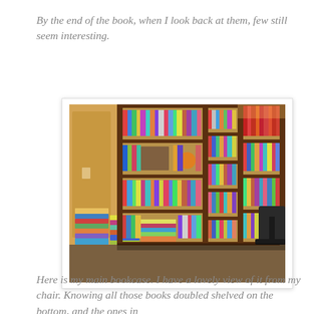By the end of the book, when I look back at them, few still seem interesting.
[Figure (photo): Photo of a large bookcase wall filled with books on multiple shelves, with stacks of books on the floor to the left side and a chair visible on the right.]
Here is my main bookcase. I have a lovely view of it from my chair. Knowing all those books doubled shelved on the bottom, and the ones in